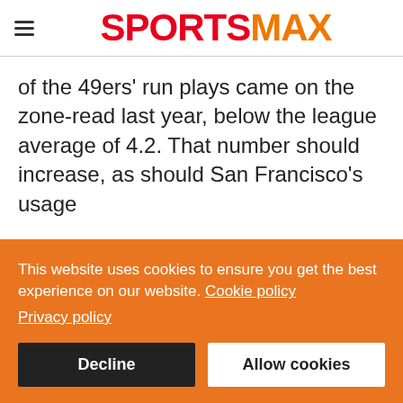SPORTSMAX
of the 49ers' run plays came on the zone-read last year, below the league average of 4.2. That number should increase, as should San Francisco's usage
This website uses cookies to ensure you get the best experience on our website. Cookie policy
Privacy policy
Decline   Allow cookies